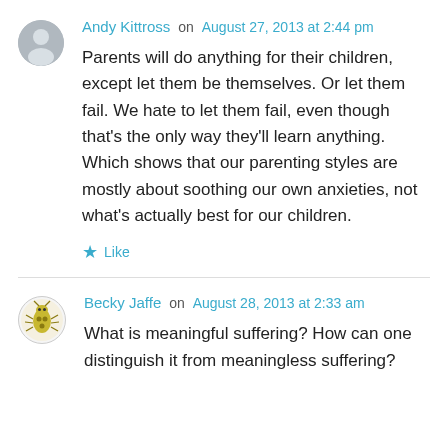Andy Kittross on August 27, 2013 at 2:44 pm
Parents will do anything for their children, except let them be themselves. Or let them fail. We hate to let them fail, even though that's the only way they'll learn anything. Which shows that our parenting styles are mostly about soothing our own anxieties, not what's actually best for our children.
★ Like
Becky Jaffe on August 28, 2013 at 2:33 am
What is meaningful suffering? How can one distinguish it from meaningless suffering?